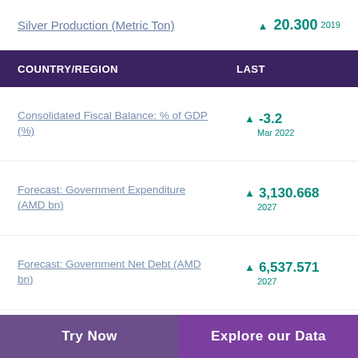Silver Production (Metric Ton) ▲ 20.300 2019
| COUNTRY/REGION | LAST |
| --- | --- |
| Consolidated Fiscal Balance: % of GDP (%) | ▲ -3.2 Mar 2022 |
| Forecast: Government Expenditure (AMD bn) | ▲ 3,130.668 2027 |
| Forecast: Government Net Debt (AMD bn) | ▲ 6,537.571 2027 |
| Forecast: Government Revenue (AMD bn) | ▲ 2,995.281 2027 |
Try Now | Explore our Data